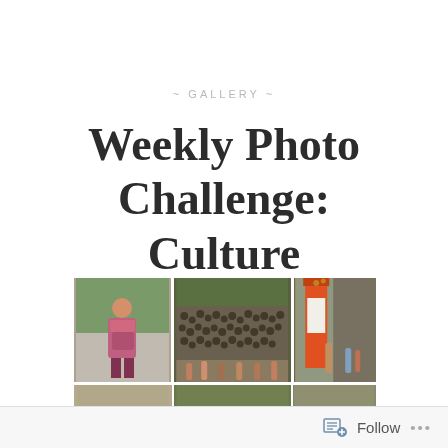~ GALLERY ~
Weekly Photo Challenge: Culture
[Figure (photo): Three cultural photos side by side: left shows a person in traditional colorful clothing standing outdoors; center shows a wall or structure covered with many hanging bells/pots at what appears to be a temple with people below; right shows an orange pillar/column at a temple with decorations and people.]
[Figure (photo): A strip of three smaller thumbnail photos at the bottom, partially visible, showing cultural scenes.]
Follow